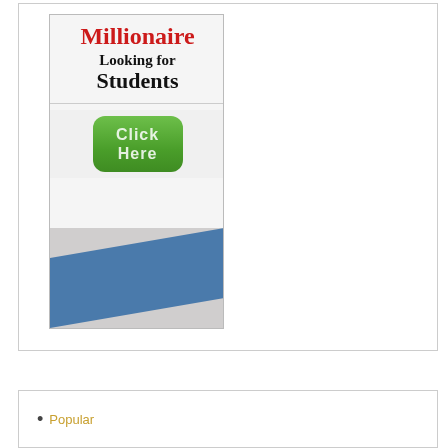[Figure (illustration): Advertisement banner image showing 'Millionaire Looking for Students' text with a green 'Click Here' button, and blue geometric shape at the bottom]
Popular